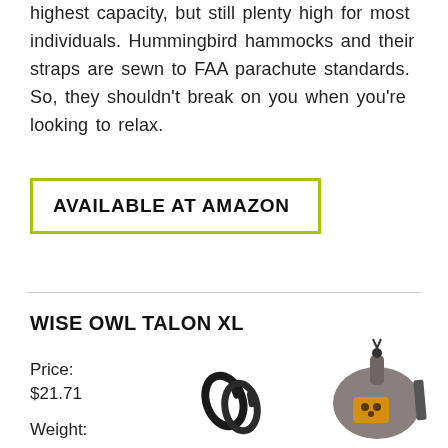highest capacity, but still plenty high for most individuals. Hummingbird hammocks and their straps are sewn to FAA parachute standards. So, they shouldn't break on you when you're looking to relax.
AVAILABLE AT AMAZON
WISE OWL TALON XL
Price:
$21.71
Weight:
[Figure (photo): Two black carabiner clips]